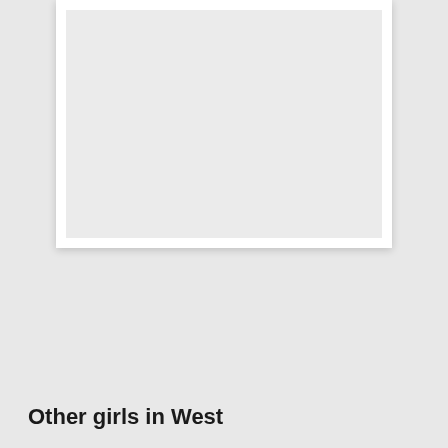[Figure (photo): A large light gray rectangular image placeholder occupying most of the upper portion of the page, shown inside a white card with a drop shadow on a light gray background.]
Other girls in West